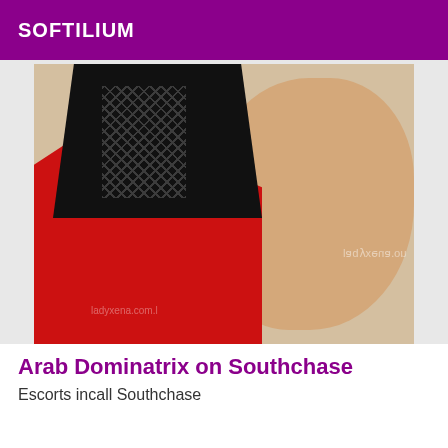SOFTILIUM
[Figure (photo): A person wearing a red swimsuit/lingerie and black corset top, lying down, photographed from behind. Watermark text visible.]
Arab Dominatrix on Southchase
Escorts incall Southchase